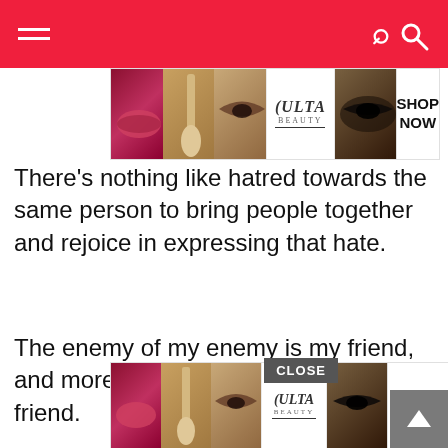[Navigation bar with hamburger menu and search icon]
[Figure (illustration): Ulta Beauty advertisement banner showing lips, makeup brush, eyebrow, Ulta logo, smoky eye makeup photos with SHOP NOW text]
There’s nothing like hatred towards the same person to bring people together and rejoice in expressing that hate.
The enemy of my enemy is my friend, and more often than not – my best friend.
[Figure (illustration): Quoted text image on gray background reading: 'When you spend so much time with your best friend that you practically bec...' with share icon, partially cut off]
[Figure (illustration): Second Ulta Beauty advertisement banner at bottom, overlapping quote image, with CLOSE button and scroll-up arrow button]